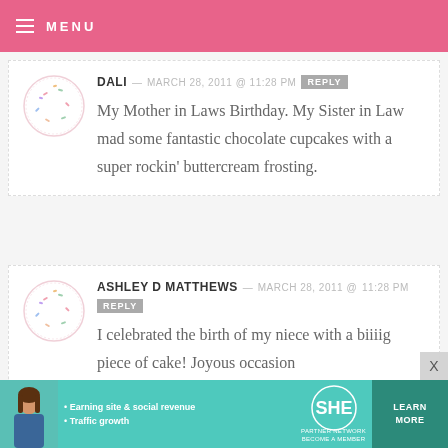MENU
DALI — MARCH 28, 2011 @ 11:28 PM REPLY
My Mother in Laws Birthday. My Sister in Law mad some fantastic chocolate cupcakes with a super rockin' buttercream frosting.
ASHLEY D MATTHEWS — MARCH 28, 2011 @ 11:28 PM REPLY
I celebrated the birth of my niece with a biiiig piece of cake! Joyous occasion
[Figure (infographic): SHE Partner Network advertisement banner with woman photo, bullet points about earning site & social revenue and traffic growth, SHE logo, and Learn More button]